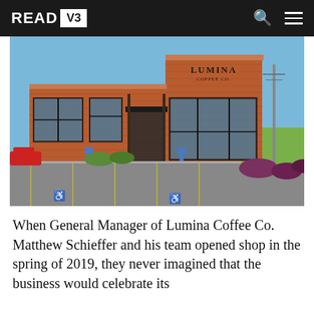READ V3
[Figure (photo): Exterior photo of Lumina Coffee Co. building — a brick commercial building with large black-framed windows, the Lumina Coffee Co. sign on the upper facade, a parking lot with handicapped spaces in the foreground, a red car to the left, and shrubs/landscaping around the building under a clear blue sky.]
When General Manager of Lumina Coffee Co. Matthew Schieffer and his team opened shop in the spring of 2019, they never imagined that the business would celebrate its